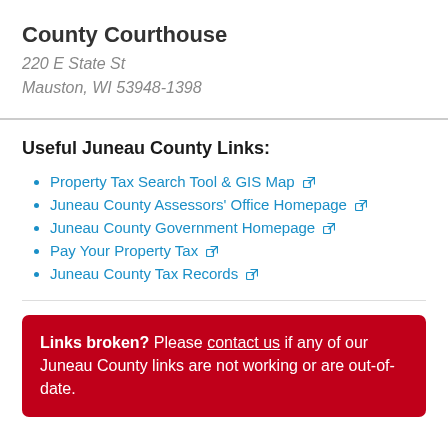County Courthouse
220 E State St
Mauston, WI 53948-1398
Useful Juneau County Links:
Property Tax Search Tool & GIS Map
Juneau County Assessors' Office Homepage
Juneau County Government Homepage
Pay Your Property Tax
Juneau County Tax Records
Links broken? Please contact us if any of our Juneau County links are not working or are out-of-date.